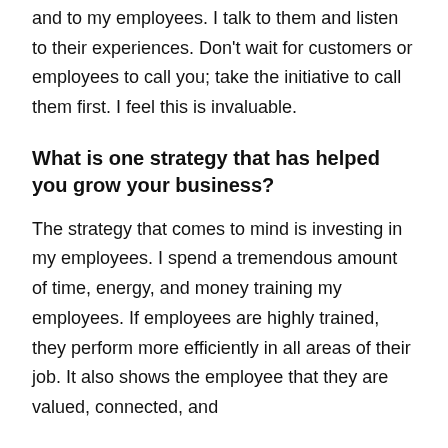and to my employees. I talk to them and listen to their experiences. Don't wait for customers or employees to call you; take the initiative to call them first. I feel this is invaluable.
What is one strategy that has helped you grow your business?
The strategy that comes to mind is investing in my employees. I spend a tremendous amount of time, energy, and money training my employees. If employees are highly trained, they perform more efficiently in all areas of their job. It also shows the employee that they are valued, connected, and that they are an integral part of the team. I have also